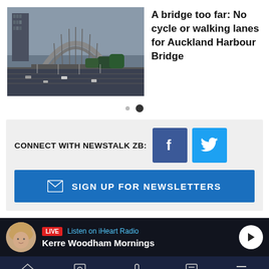[Figure (photo): Auckland Harbour Bridge aerial view showing the bridge structure and surrounding motorways and buildings]
A bridge too far: No cycle or walking lanes for Auckland Harbour Bridge
[Figure (other): Carousel navigation dots - one small inactive dot and one larger active dot]
CONNECT WITH NEWSTALK ZB:
[Figure (other): Facebook and Twitter social media buttons]
SIGN UP FOR NEWSLETTERS
LIVE Listen on iHeart Radio
Kerre Woodham Mornings
Home | Shows | Podcasts | News | Menu